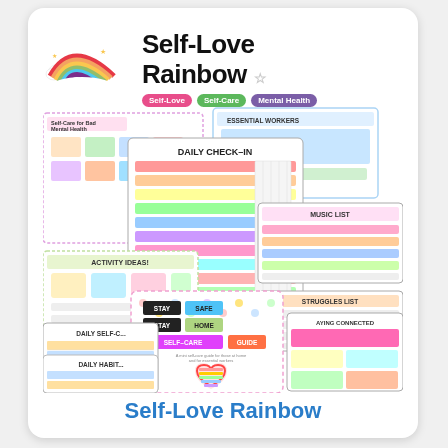[Figure (logo): Self-Love Rainbow brand logo with rainbow illustration and brand name, plus colored tags for Self-Love, Self-Care, Mental Health]
[Figure (illustration): Preview collage of multiple colorful self-care worksheet pages including Daily Check-In, Self-Care for Bad Mental Health, Essential Workers, Activity Ideas, Music List, Daily Self-Care, Daily Habit, Stay Safe Stay Home Self-Care Guide, Struggles List, Staying Connected sheets arranged in overlapping fan layout]
Self-Love Rainbow